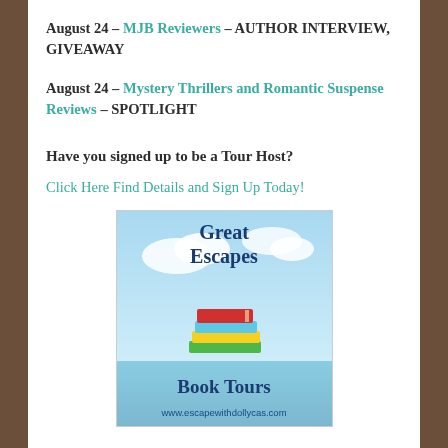August 24 – MJB Reviewers – AUTHOR INTERVIEW, GIVEAWAY
August 24 – Mystery Thrillers and Romantic Suspense Reviews – SPOTLIGHT
Have you signed up to be a Tour Host?
Click Here Find Details and Sign Up Today!
[Figure (logo): Great Escapes Book Tours logo with sky background, stack of books, and URL www.escapewithdollycas.com]